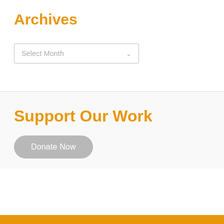Archives
[Figure (screenshot): A dropdown select input with placeholder text 'Select Month' and a chevron arrow on the right side, inside a rectangular border]
Support Our Work
Donate Now